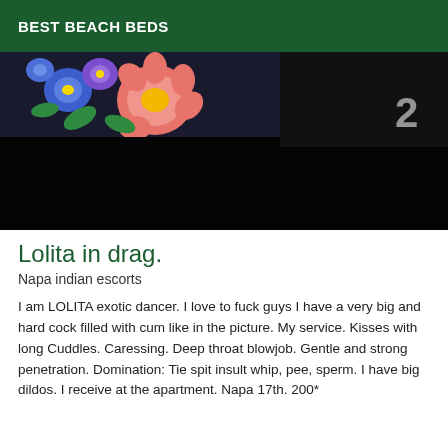BEST BEACH BEDS
[Figure (photo): Partially visible image showing colorful floral fabric (blue, pink, purple flowers) on the left side and a dark background on the right, with a partially visible number or letter on the right edge.]
Lolita in drag.
Napa indian escorts
I am LOLITA exotic dancer. I love to fuck guys I have a very big and hard cock filled with cum like in the picture. My service. Kisses with long Cuddles. Caressing. Deep throat blowjob. Gentle and strong penetration. Domination: Tie spit insult whip, pee, sperm. I have big dildos. I receive at the apartment. Napa 17th. 200*